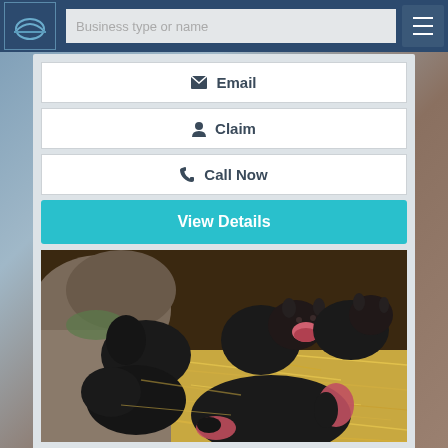[Figure (screenshot): Website navigation bar with logo, search input placeholder 'Business type or name', and hamburger menu icon on dark navy background]
✉ Email
👤 Claim
📞 Call Now
View Details
[Figure (photo): Photo of several young Tasmanian devils huddled together in a nest of straw/hay near a rocky surface. The animals are black with some pink markings visible.]